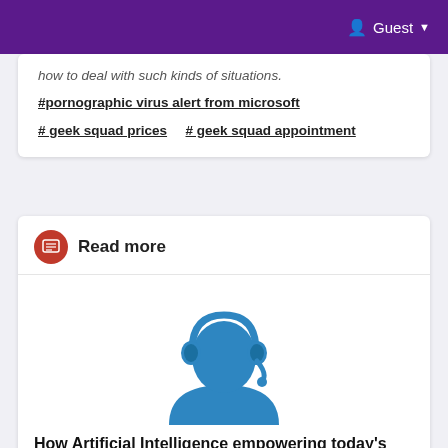Guest
how to deal with such kinds of situations.
#pornographic virus alert from microsoft
# geek squad prices   # geek squad appointment
Read more
[Figure (illustration): Blue silhouette of a person wearing a headset/headphones with microphone]
How Artificial Intelligence empowering today's banks
11 Feb 2021
[Figure (photo): Partially visible colorful product box at the bottom of the card]